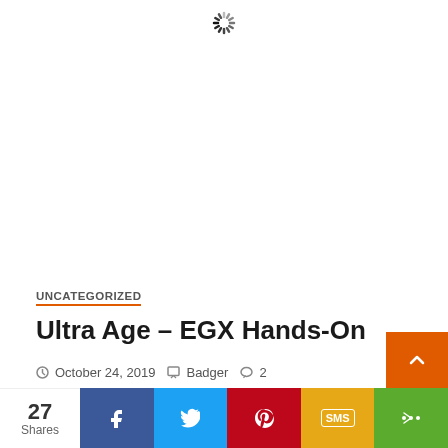[Figure (other): Loading spinner icon at top of page]
UNCATEGORIZED
Ultra Age – EGX Hands-On
October 24, 2019  Badger  2
RECENT POSTS
Last Chance To Attend Format in 2022
Lord Winklebottom Investigates – PC Review
27 Shares